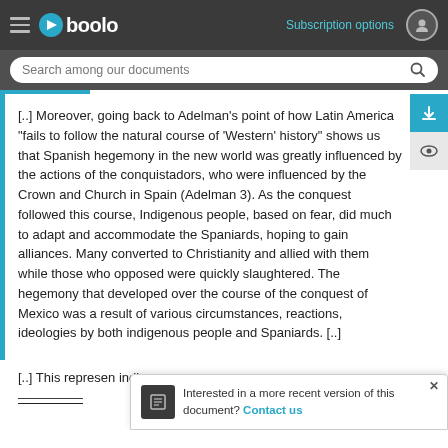Gboolo — Subscription options
[..] Moreover, going back to Adelman's point of how Latin America "fails to follow the natural course of 'Western' history" shows us that Spanish hegemony in the new world was greatly influenced by the actions of the conquistadors, who were influenced by the Crown and Church in Spain (Adelman 3). As the conquest followed this course, Indigenous people, based on fear, did much to adapt and accommodate the Spaniards, hoping to gain alliances. Many converted to Christianity and allied with them while those who opposed were quickly slaughtered. The hegemony that developed over the course of the conquest of Mexico was a result of various circumstances, reactions, ideologies by both indigenous people and Spaniards. [..]
[..] This represents... indigenous com... [..]
Interested in a more recent version of this document? Contact us